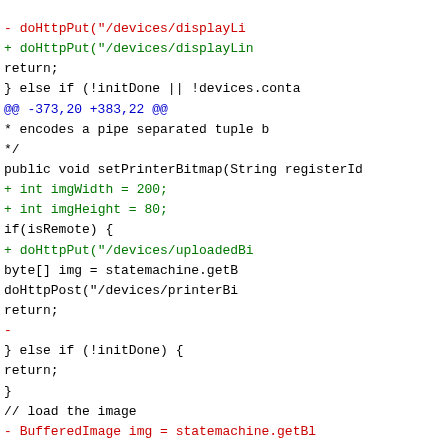Git diff code snippet showing changes to setPrinterBitmap method and surrounding code including doHttpPut, return statements, hunk header @@ -373,20 +383,22 @@, and added lines for imgWidth, imgHeight, doHttpPut uploadedBitmap, byte[] img, doHttpPost printerBitmap, and else if (!initDone) block.